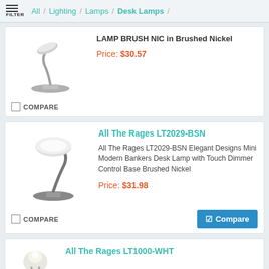FILTER / All / Lighting / Lamps / Desk Lamps /
LAMP BRUSH NIC in Brushed Nickel
Price: $30.57
COMPARE
All The Rages LT2029-BSN
All The Rages LT2029-BSN Elegant Designs Mini Modern Bankers Desk Lamp with Touch Dimmer Control Base Brushed Nickel
Price: $31.98
COMPARE
All The Rages LT1000-WHT